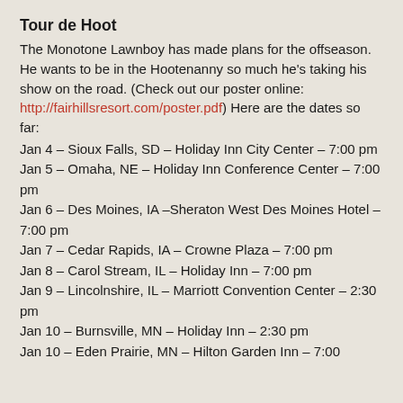Tour de Hoot
The Monotone Lawnboy has made plans for the offseason. He wants to be in the Hootenanny so much he’s taking his show on the road. (Check out our poster online: http://fairhillsresort.com/poster.pdf) Here are the dates so far:
Jan 4 – Sioux Falls, SD – Holiday Inn City Center – 7:00 pm
Jan 5 – Omaha, NE – Holiday Inn Conference Center – 7:00 pm
Jan 6 – Des Moines, IA –Sheraton West Des Moines Hotel – 7:00 pm
Jan 7 – Cedar Rapids, IA – Crowne Plaza – 7:00 pm
Jan 8 – Carol Stream, IL – Holiday Inn – 7:00 pm
Jan 9 – Lincolnshire, IL – Marriott Convention Center – 2:30 pm
Jan 10 – Burnsville, MN – Holiday Inn – 2:30 pm
Jan 10 – Eden Prairie, MN – Hilton Garden Inn – 7:00